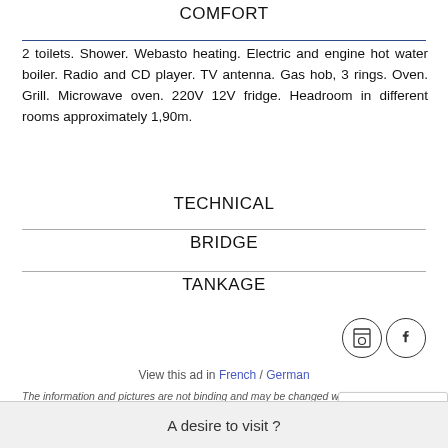COMFORT
2 toilets. Shower. Webasto heating. Electric and engine hot water boiler. Radio and CD player. TV antenna. Gas hob, 3 rings. Oven. Grill. Microwave oven. 220V 12V fridge. Headroom in different rooms approximately 1,90m.
TECHNICAL
BRIDGE
TANKAGE
View this ad in French / German
The information and pictures are not binding and may be changed without prior notice.
A desire to visit ?